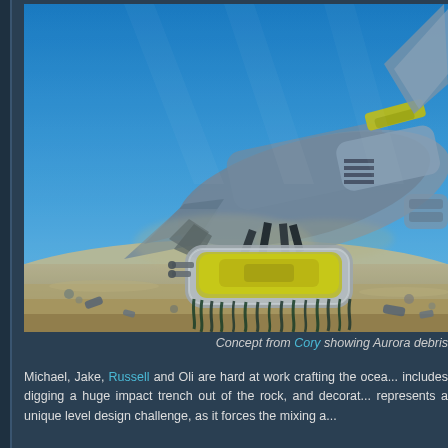[Figure (illustration): Concept art showing Aurora spacecraft debris resting on an underwater sandy ocean floor. A large crashed spacecraft with yellow and grey markings is partially buried in sand, with a smaller yellow and grey device/module in the foreground. Blue water and bright lighting above.]
Concept from Cory showing Aurora debris
Michael, Jake, Russell and Oli are hard at work crafting the ocea... includes digging a huge impact trench out of the rock, and decorat... represents a unique level design challenge, as it forces the mixing a...